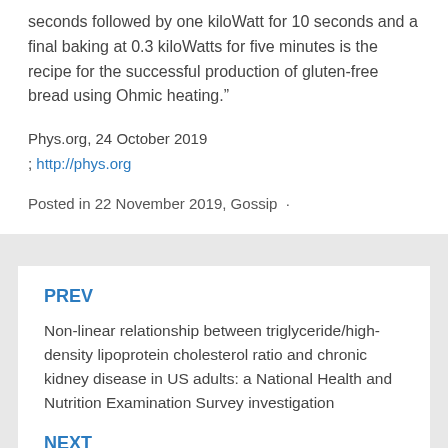seconds followed by one kiloWatt for 10 seconds and a final baking at 0.3 kiloWatts for five minutes is the recipe for the successful production of gluten-free bread using Ohmic heating.”
Phys.org, 24 October 2019
; http://phys.org
Posted in 22 November 2019, Gossip ·
PREV
Non-linear relationship between triglyceride/high-density lipoprotein cholesterol ratio and chronic kidney disease in US adults: a National Health and Nutrition Examination Survey investigation
NEXT